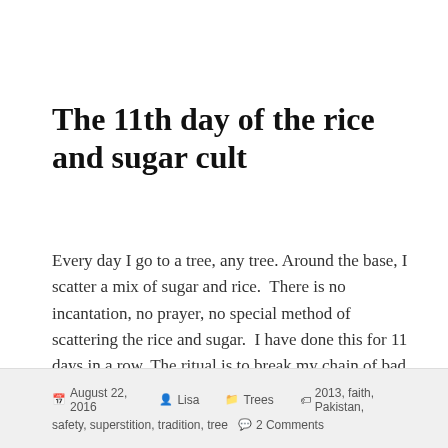The 11th day of the rice and sugar cult
Every day I go to a tree, any tree. Around the base, I scatter a mix of sugar and rice.  There is no incantation, no prayer, no special method of scattering the rice and sugar.  I have done this for 11 days in a row. The ritual is to break my chain of bad luck.   …  read more →
August 22, 2016   Lisa   Trees   2013, faith, Pakistan, safety, superstition, tradition, tree   2 Comments